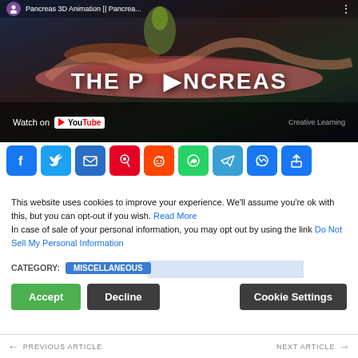[Figure (screenshot): YouTube video thumbnail showing 'THE PANCREAS' 3D animation from Creative Learning channel, with organs visible on dark background, YouTube play button overlay, and 'Watch on YouTube' bar at bottom.]
[Figure (infographic): Row of social sharing icons: Facebook, Twitter, Email, Pinterest, Reddit, WhatsApp, Telegram, Messenger, Share]
This website uses cookies to improve your experience. We'll assume you're ok with this, but you can opt-out if you wish. Read More In case of sale of your personal information, you may opt out by using the link Do Not Sell My Personal Information
CATEGORY: MISCELLANEOUS
PREVIOUS ARTICLE   NEXT ARTICLE